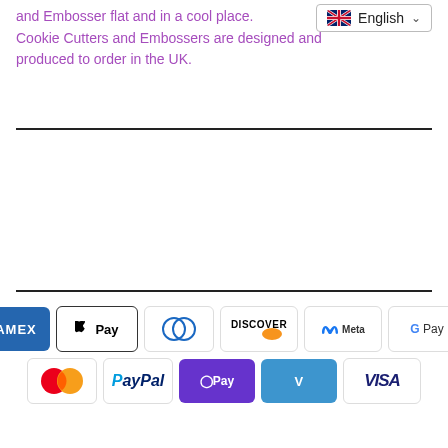and Embosser flat and in a cool place. Cookie Cutters and Embossers are designed and produced to order in the UK.
[Figure (screenshot): English language selector badge with UK flag and dropdown arrow]
[Figure (infographic): Payment method icons: American Express, Apple Pay, Diners Club, Discover, Meta Pay, Google Pay, Mastercard, PayPal, OPay, Venmo, Visa]